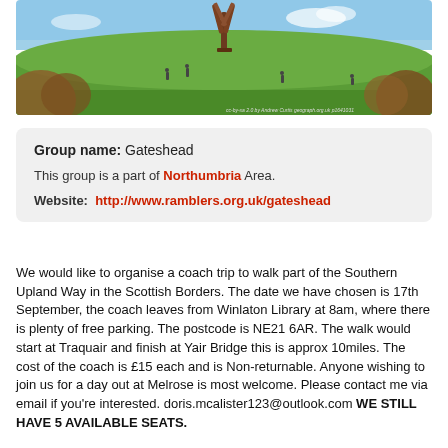[Figure (photo): Panoramic photo of a large metal sculpture on top of a green hill with people walking around it, blue sky background, autumn foliage on the sides. Photo credit text visible at bottom.]
Group name: Gateshead
This group is a part of Northumbria Area.
Website: http://www.ramblers.org.uk/gateshead
We would like to organise a coach trip to walk part of the Southern Upland Way in the Scottish Borders. The date we have chosen is 17th September, the coach leaves from Winlaton Library at 8am, where there is plenty of free parking. The postcode is NE21 6AR. The walk would start at Traquair and finish at Yair Bridge this is approx 10miles. The cost of the coach is £15 each and is Non-returnable. Anyone wishing to join us for a day out at Melrose is most welcome. Please contact me via email if you're interested. doris.mcalister123@outlook.com WE STILL HAVE 5 AVAILABLE SEATS.